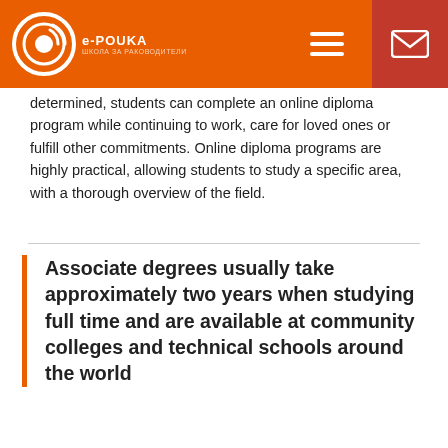e-POUKA
determined, students can complete an online diploma program while continuing to work, care for loved ones or fulfill other commitments. Online diploma programs are highly practical, allowing students to study a specific area, with a thorough overview of the field.
Associate degrees usually take approximately two years when studying full time and are available at community colleges and technical schools around the world
Summer courses are a great way to gain qualifications and academic credits in a convenient format. Offered during the